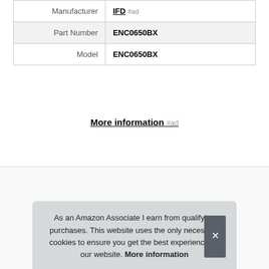| Manufacturer | IFD #ad |
| Part Number | ENC0650BX |
| Model | ENC0650BX |
More information #ad
6. Hongzan
#ad
As an Amazon Associate I earn from qualifying purchases. This website uses the only necessary cookies to ensure you get the best experience on our website. More information